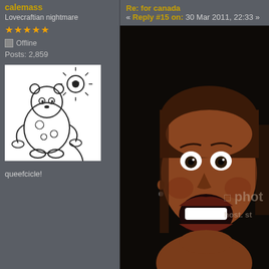calemass
Lovecraftian nightmare
★★★★★
Offline
Posts: 2,859
[Figure (illustration): Hand-drawn cartoon of a cute bear/cat creature holding something, with a smiling sun above it. Black and white line art on white background.]
queefcicle!
Re: for canada
« Reply #15 on: 30 Mar 2011, 22:33 »
[Figure (photo): Photograph of a woman with wide open mouth and wide eyes, appearing to scream or react with shock/excitement. Dark background. Photobucket watermark visible.]